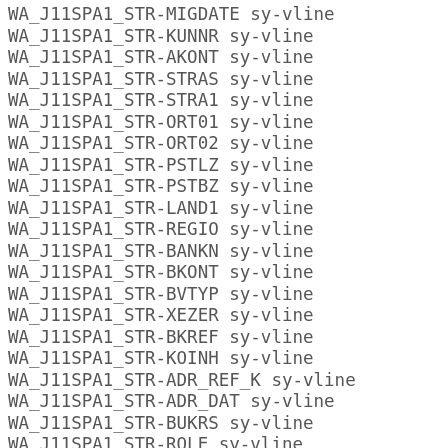WA_J11SPA1_STR-MIGDATE sy-vline
WA_J11SPA1_STR-KUNNR sy-vline
WA_J11SPA1_STR-AKONT sy-vline
WA_J11SPA1_STR-STRAS sy-vline
WA_J11SPA1_STR-STRA1 sy-vline
WA_J11SPA1_STR-ORT01 sy-vline
WA_J11SPA1_STR-ORT02 sy-vline
WA_J11SPA1_STR-PSTLZ sy-vline
WA_J11SPA1_STR-PSTBZ sy-vline
WA_J11SPA1_STR-LAND1 sy-vline
WA_J11SPA1_STR-REGIO sy-vline
WA_J11SPA1_STR-BANKN sy-vline
WA_J11SPA1_STR-BKONT sy-vline
WA_J11SPA1_STR-BVTYP sy-vline
WA_J11SPA1_STR-XEZER sy-vline
WA_J11SPA1_STR-BKREF sy-vline
WA_J11SPA1_STR-KOINH sy-vline
WA_J11SPA1_STR-ADR_REF_K sy-vline
WA_J11SPA1_STR-ADR_DAT sy-vline
WA_J11SPA1_STR-BUKRS sy-vline
WA_J11SPA1_STR-ROLE sy-vline
WA_J11SPA1_STR-ROLETYP sy-vline